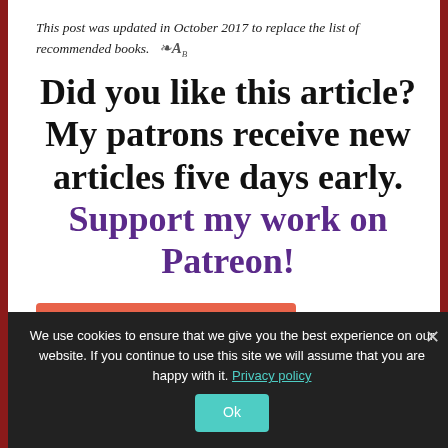This post was updated in October 2017 to replace the list of recommended books.
Did you like this article? My patrons receive new articles five days early. Support my work on Patreon!
[Figure (other): Become a Patron button — Patreon logo (bar + circle) with text BECOME A PATRON on orange-red background]
We use cookies to ensure that we give you the best experience on our website. If you continue to use this site we will assume that you are happy with it. Privacy policy
Ok